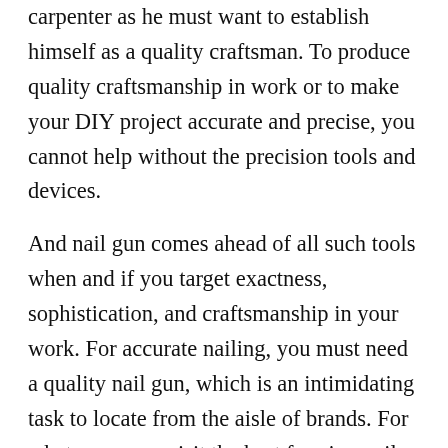The same consideration applies to a professional carpenter as he must want to establish himself as a quality craftsman. To produce quality craftsmanship in work or to make your DIY project accurate and precise, you cannot help without the precision tools and devices.
And nail gun comes ahead of all such tools when and if you target exactness, sophistication, and craftsmanship in your work. For accurate nailing, you must need a quality nail gun, which is an intimidating task to locate from the aisle of brands. For what, you may visit the best framing nailer reviews by clicking here.
6. Sturdy And Long-lasting